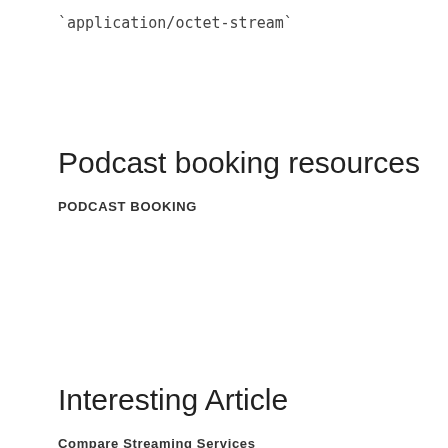`application/octet-stream`
Podcast booking resources
PODCAST BOOKING
Interesting Article
Compare Streaming Services